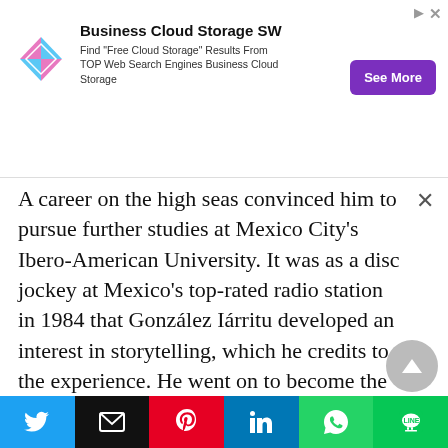[Figure (other): Advertisement banner: Business Cloud Storage SW with colorful diamond logo, text 'Find Free Cloud Storage Results From TOP Web Search Engines Business Cloud Storage', and a purple See More button]
A career on the high seas convinced him to pursue further studies at Mexico City's Ibero-American University. It was as a disc jockey at Mexico's top-rated radio station in 1984 that González Iárritu developed an interest in storytelling, which he credits to the experience. He went on to become the youngest producer at Televisa, Mexico's most prominent television network, at the age of twenty-three. After quitting Televisa in 1991, he formed Zeta Film and became a television commercial writer and director.
[Figure (other): Social sharing bar with Twitter, Email, Pinterest, LinkedIn, WhatsApp, and Line buttons]